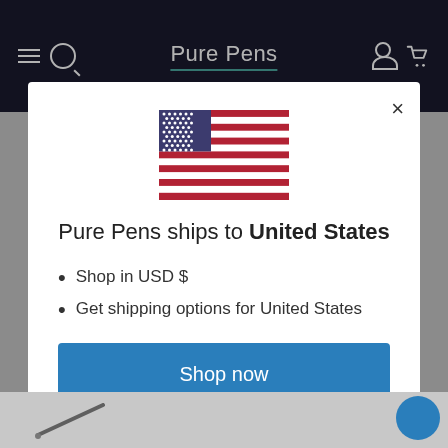Pure Pens
[Figure (illustration): US flag emoji]
Pure Pens ships to United States
Shop in USD $
Get shipping options for United States
Shop now
Change shipping country